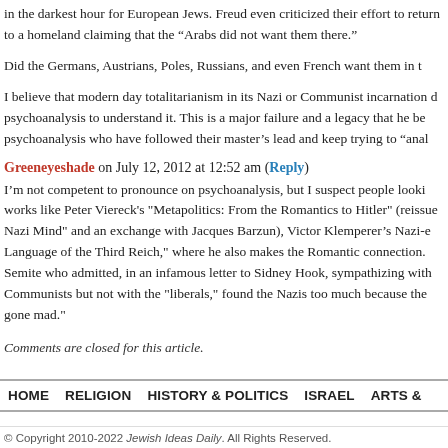in the darkest hour for European Jews. Freud even criticized their effort to return to a homeland claiming that the “Arabs did not want them there.”
Did the Germans, Austrians, Poles, Russians, and even French want them in their countries?
I believe that modern day totalitarianism in its Nazi or Communist incarnation defies psychoanalysis to understand it. This is a major failure and a legacy that he bequeathed to psychoanalysis who have followed their master’s lead and keep trying to “analyze” it.
Greeneyeshade on July 12, 2012 at 12:52 am (Reply)
I’m not competent to pronounce on psychoanalysis, but I suspect people looking for works like Peter Viereck's "Metapolitics: From the Romantics to Hitler" (reissued as "Metapolitics: The Roots of the Nazi Mind" and an exchange with Jacques Barzun), Victor Klemperer’s Nazi-era diary, and "LTI: Notebook of a Philologist: Language of the Third Reich," where he also makes the Romantic connection. And there was Heidegger, a German anti-Semite who admitted, in an infamous letter to Sidney Hook, sympathizing with the Nazis, who found the Communists but not with the "liberals," found the Nazis too much because they had allowed "the rabble" to go gone mad."
Comments are closed for this article.
HOME   RELIGION   HISTORY & POLITICS   ISRAEL   ARTS &
© Copyright 2010-2022 Jewish Ideas Daily. All Rights Reserved.